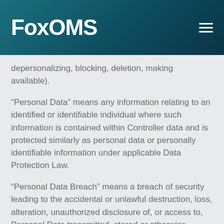FoxOMS
depersonalizing, blocking, deletion, making available).
“Personal Data” means any information relating to an identified or identifiable individual where such information is contained within Controller data and is protected similarly as personal data or personally identifiable information under applicable Data Protection Law.
“Personal Data Breach” means a breach of security leading to the accidental or unlawful destruction, loss, alteration, unauthorized disclosure of, or access to, Personal Data transmitted, stored or otherwise processed.